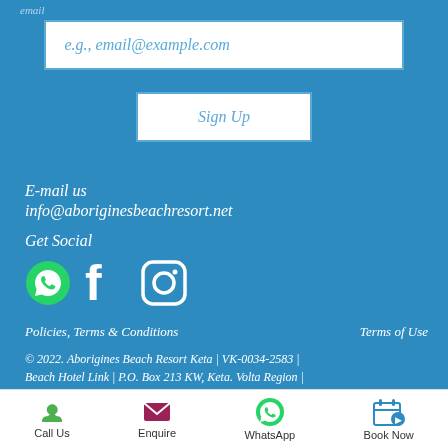email
e.g., email@example.com
Sign Up
E-mail us
info@aboriginesbeachresort.net
Get Social
[Figure (illustration): WhatsApp, Facebook, and Instagram social media icons]
Policies, Terms & Conditions     Terms of Use
© 2022. Aborigines Beach Resort Keta | VK-0034-2583 | Beach Hotel Link | P.O. Box 213 KW, Keta. Volta Region | Ghana.
Call Us  Enquire  WhatsApp  Book Now